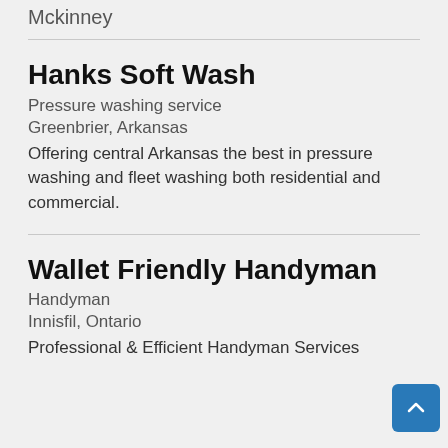Mckinney
Hanks Soft Wash
Pressure washing service
Greenbrier, Arkansas
Offering central Arkansas the best in pressure washing and fleet washing both residential and commercial.
Wallet Friendly Handyman
Handyman
Innisfil, Ontario
Professional & Efficient Handyman Services